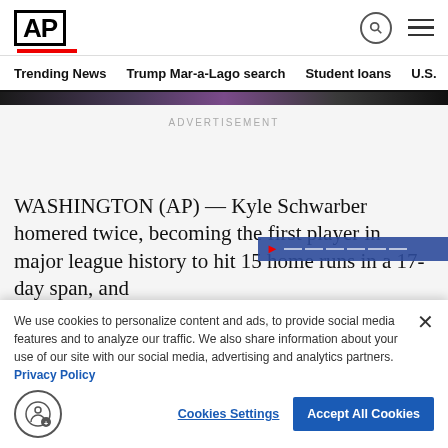AP
Trending News   Trump Mar-a-Lago search   Student loans   U.S.
[Figure (photo): Partial colored image strip at top of article]
ADVERTISEMENT
WASHINGTON (AP) — Kyle Schwarber homered twice, becoming the first player in major league history to hit 15 home runs in a 17-day span, and
We use cookies to personalize content and ads, to provide social media features and to analyze our traffic. We also share information about your use of our site with our social media, advertising and analytics partners. Privacy Policy
Cookies Settings
Accept All Cookies